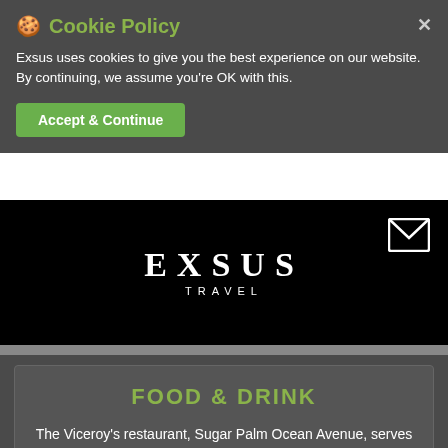🍪 Cookie Policy
Exsus uses cookies to give you the best experience on our website. By continuing, we assume you're OK with this.
Accept & Continue
[Figure (logo): EXSUS TRAVEL logo in white on black background with envelope/mail icon]
FOOD & DRINK
The Viceroy's restaurant, Sugar Palm Ocean Avenue, serves some of the best food in the area, while its wraparound bar is a striking centrepiece. Dine on coastal-inspired cuisine under the shade of palm trees on the terrace.